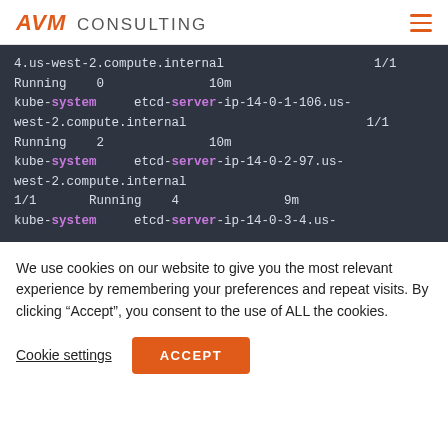AVM CONSULTING
[Figure (screenshot): Terminal/command-line output showing Kubernetes pods in kube-system namespace. Lines show: '4.us-west-2.compute.internal    1/1', 'Running    0    10m', 'kube-system    etcd-server-ip-14-0-1-106.us-west-2.compute.internal    1/1', 'Running    2    10m', 'kube-system    etcd-server-ip-14-0-2-97.us-west-2.compute.internal', '1/1    Running    4    9m', 'kube-system    etcd-server-ip-14-0-3-4.us-']
We use cookies on our website to give you the most relevant experience by remembering your preferences and repeat visits. By clicking “Accept”, you consent to the use of ALL the cookies.
Cookie settings | ACCEPT